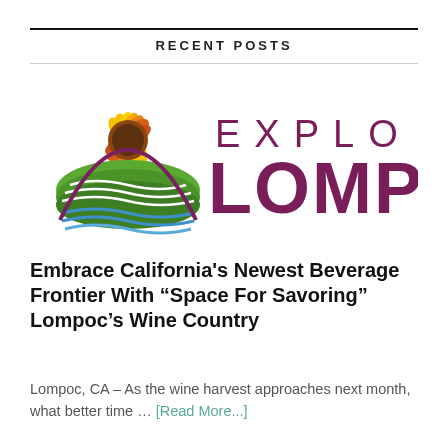RECENT POSTS
[Figure (logo): Explo Lompoc logo — colorful sunflower and landscape icon on left with 'EXPLO LOMPC' text in dark maroon/purple on right]
Embrace California's Newest Beverage Frontier With “Space For Savoring” Lompoc’s Wine Country
Lompoc, CA – As the wine harvest approaches next month, what better time … [Read More...]